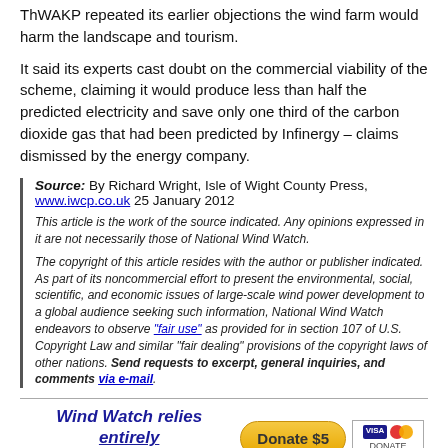ThWAKP repeated its earlier objections the wind farm would harm the landscape and tourism.
It said its experts cast doubt on the commercial viability of the scheme, claiming it would produce less than half the predicted electricity and save only one third of the carbon dioxide gas that had been predicted by Infinergy – claims dismissed by the energy company.
Source: By Richard Wright, Isle of Wight County Press, www.iwcp.co.uk 25 January 2012
This article is the work of the source indicated. Any opinions expressed in it are not necessarily those of National Wind Watch.
The copyright of this article resides with the author or publisher indicated. As part of its noncommercial effort to present the environmental, social, scientific, and economic issues of large-scale wind power development to a global audience seeking such information, National Wind Watch endeavors to observe "fair use" as provided for in section 107 of U.S. Copyright Law and similar "fair dealing" provisions of the copyright laws of other nations. Send requests to excerpt, general inquiries, and comments via e-mail.
Wind Watch relies entirely on User Funding  Donate $5
[ Short URL: https://wind-watch.org/news/?p=18236 ]
Translate FROM English TO English